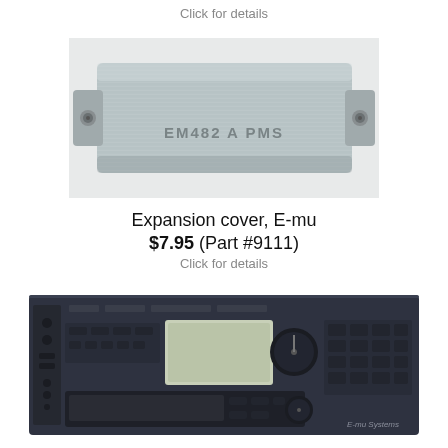Click for details
[Figure (photo): Metal expansion cover plate labeled EM482 A PMS with mounting screws on each end]
Expansion cover, E-mu
$7.95 (Part #9111)
Click for details
[Figure (photo): E-mu Systems rack-mount synthesizer/sampler front panel with display, buttons, knobs, and floppy drive bay]